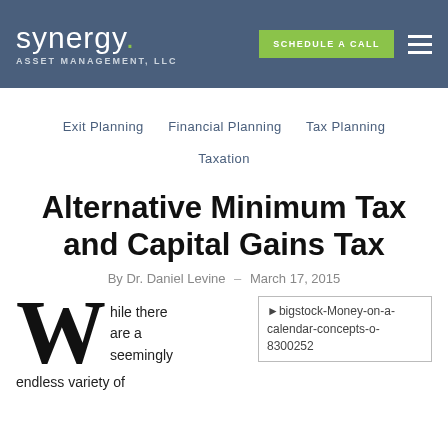synergy. ASSET MANAGEMENT, LLC | SCHEDULE A CALL
Exit Planning   Financial Planning   Tax Planning   Taxation
Alternative Minimum Tax and Capital Gains Tax
By Dr. Daniel Levine  -  March 17, 2015
[Figure (illustration): Drop cap W with body text: 'hile there are a seemingly endless variety of']
[Figure (photo): Placeholder image: bigstock-Money-on-a-calendar-concepts-o-8300252]